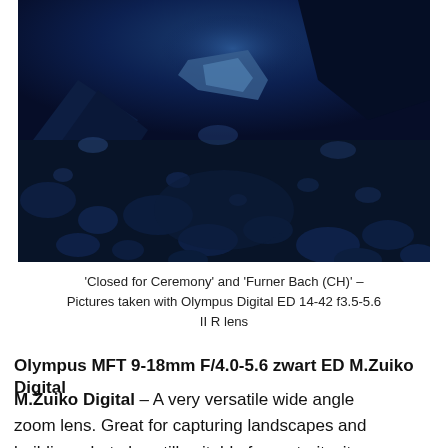[Figure (photo): A dark blue-toned landscape photograph showing rocky terrain with stones, pebbles, and what appears to be a glacial or mountain stream scene. The image has a deep blue color cast with lighter blue highlights on rocks.]
'Closed for Ceremony' and 'Furner Bach (CH)' – Pictures taken with Olympus Digital ED 14-42 f3.5-5.6 II R lens
Olympus MFT 9-18mm F/4.0-5.6 zwart ED M.Zuiko Digital
– A very versatile wide angle zoom lens. Great for capturing landscapes and buildings, but also still suitable for portraits. it